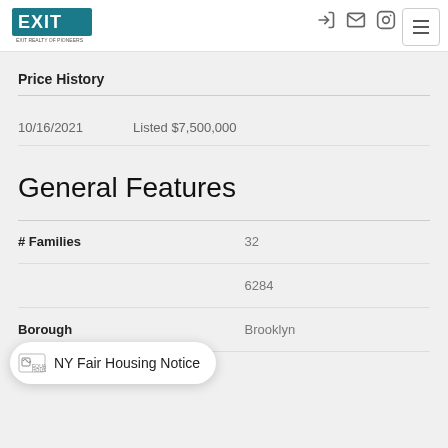[Figure (logo): EXIT Realty of Pioneers logo in teal/dark colors]
Price History
10/16/2021   Listed $7,500,000
General Features
| Feature | Value |
| --- | --- |
| # Families | 32 |
|  | 6284 |
| Borough | Brooklyn |
NY Fair Housing Notice